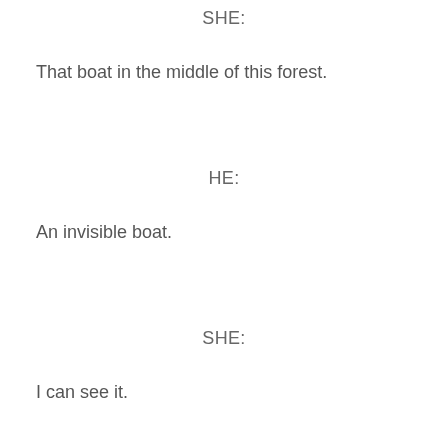SHE:
That boat in the middle of this forest.
HE:
An invisible boat.
SHE:
I can see it.
HE:
In the hull?